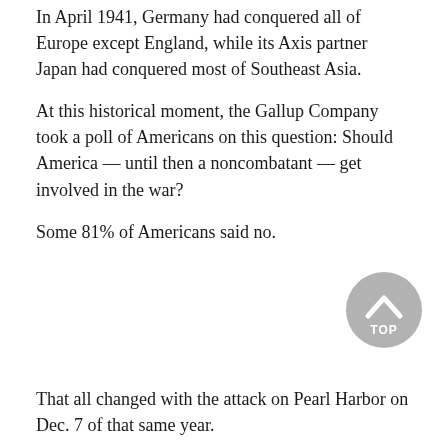In April 1941, Germany had conquered all of Europe except England, while its Axis partner Japan had conquered most of Southeast Asia.
At this historical moment, the Gallup Company took a poll of Americans on this question: Should America — until then a noncombatant — get involved in the war?
Some 81% of Americans said no.
[Figure (other): A circular grey 'TOP' button with an upward-pointing chevron arrow, used for scrolling back to the top of the page.]
That all changed with the attack on Pearl Harbor on Dec. 7 of that same year.